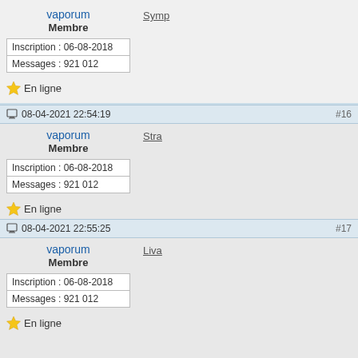vaporum
Membre
Inscription : 06-08-2018
Messages : 921 012
En ligne
Symp
08-04-2021 22:54:19 #16
vaporum
Membre
Inscription : 06-08-2018
Messages : 921 012
En ligne
Stra
08-04-2021 22:55:25 #17
vaporum
Membre
Inscription : 06-08-2018
Messages : 921 012
En ligne
Liva